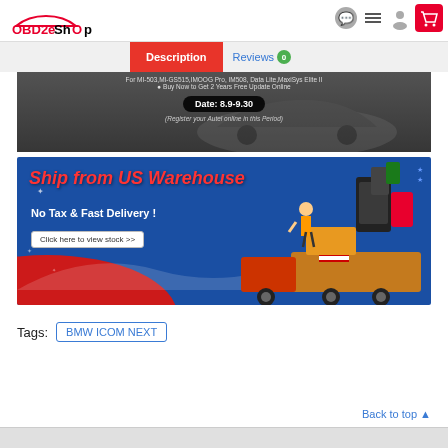OBD2eShOp
Description | Reviews 0
[Figure (photo): Promotional banner showing a car in background with text about date 8.9-9.30 and 2 years free update online offer]
[Figure (infographic): Ship from US Warehouse banner with red white and blue American flag theme, showing OBD diagnostic tools being delivered by truck. Text: Ship from US Warehouse, No Tax & Fast Delivery!, Click here to view stock >>]
Tags:  BMW ICOM NEXT
Back to top ▲